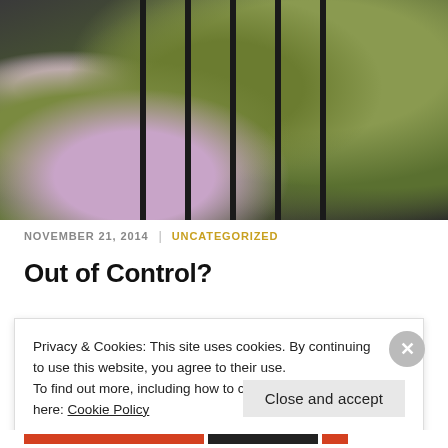[Figure (photo): Photo of garden plants growing through black metal fence railings, including yellow dandelion flowers, green leafy plants, and purple succulent flowers in foreground.]
NOVEMBER 21, 2014  |  UNCATEGORIZED
Out of Control?
Privacy & Cookies: This site uses cookies. By continuing to use this website, you agree to their use.
To find out more, including how to control cookies, see here: Cookie Policy
Close and accept